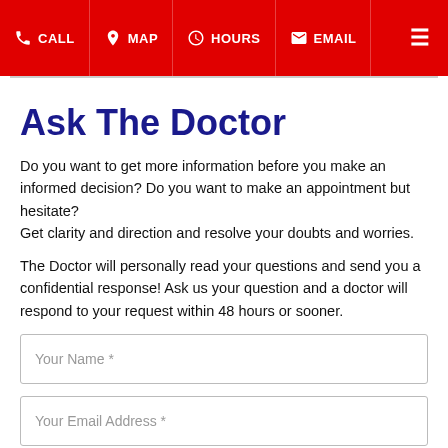CALL  MAP  HOURS  EMAIL
Ask The Doctor
Do you want to get more information before you make an informed decision? Do you want to make an appointment but hesitate?
Get clarity and direction and resolve your doubts and worries.
The Doctor will personally read your questions and send you a confidential response! Ask us your question and a doctor will respond to your request within 48 hours or sooner.
Your Name *
Your Email Address *